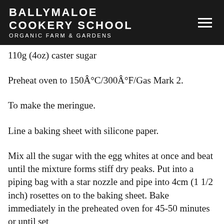BALLYMALOE COOKERY SCHOOL ORGANIC FARM & GARDENS
110g (4oz) caster sugar
Preheat oven to 150Â°C/300Â°F/Gas Mark 2.
To make the meringue.
Line a baking sheet with silicone paper.
Mix all the sugar with the egg whites at once and beat until the mixture forms stiff dry peaks. Put into a piping bag with a star nozzle and pipe into 4cm (1 1/2 inch) rosettes on to the baking sheet. Bake immediately in the preheated oven for 45-50 minutes or until set